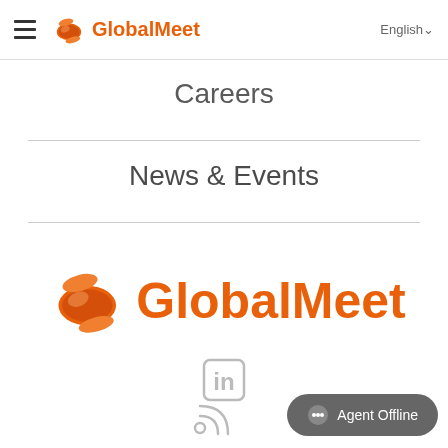GlobalMeet  English
Careers
News & Events
[Figure (logo): GlobalMeet logo — orange sphere icon with text GlobalMeet in orange]
[Figure (illustration): LinkedIn icon (in) in light gray]
[Figure (illustration): RSS feed icon in light gray]
Agent Offline